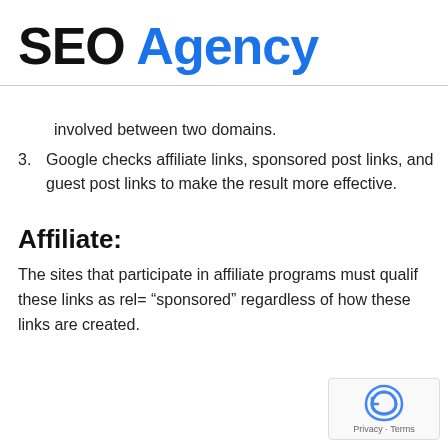SEO Agency
involved between two domains.
3. Google checks affiliate links, sponsored post links, and guest post links to make the result more effective.
Affiliate:
The sites that participate in affiliate programs must qualify these links as rel= “sponsored” regardless of how these links are created.
[Figure (logo): Google reCAPTCHA badge with Privacy and Terms text]